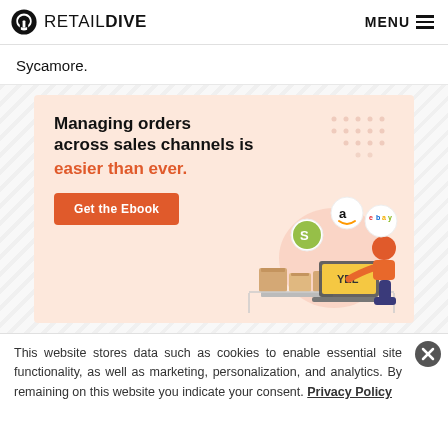RETAIL DIVE  MENU
Sycamore.
[Figure (illustration): Advertisement banner with peach/salmon background. Headline: 'Managing orders across sales channels is easier than ever.' with a red 'Get the Ebook' button. Right side shows illustrated person at laptop with Amazon, eBay, and Shopify icons floating above boxes.]
This website stores data such as cookies to enable essential site functionality, as well as marketing, personalization, and analytics. By remaining on this website you indicate your consent. Privacy Policy